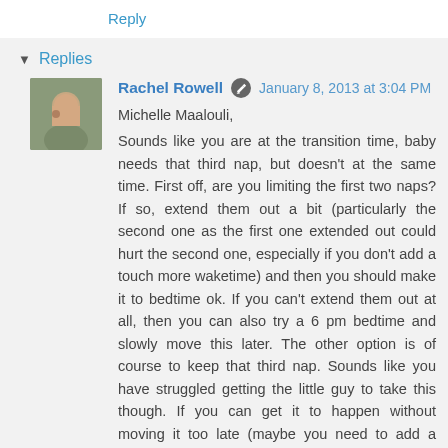Reply
Replies
Rachel Rowell  January 8, 2013 at 3:04 PM
Michelle Maalouli,
Sounds like you are at the transition time, baby needs that third nap, but doesn't at the same time. First off, are you limiting the first two naps? If so, extend them out a bit (particularly the second one as the first one extended out could hurt the second one, especially if you don't add a touch more waketime) and then you should make it to bedtime ok. If you can't extend them out at all, then you can also try a 6 pm bedtime and slowly move this later. The other option is of course to keep that third nap. Sounds like you have struggled getting the little guy to take this though. If you can get it to happen without moving it too late (maybe you need to add a tough of waketime before this nap?) and bedtime not too late, then you might want to keep it for a